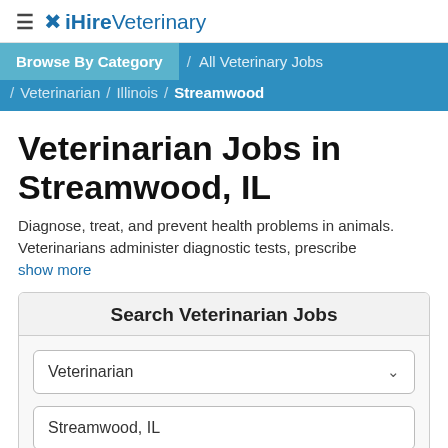≡ iHireVeterinary
Browse By Category / All Veterinary Jobs / Veterinarian / Illinois / Streamwood
Veterinarian Jobs in Streamwood, IL
Diagnose, treat, and prevent health problems in animals. Veterinarians administer diagnostic tests, prescribe
show more
Search Veterinarian Jobs
Veterinarian
Streamwood, IL